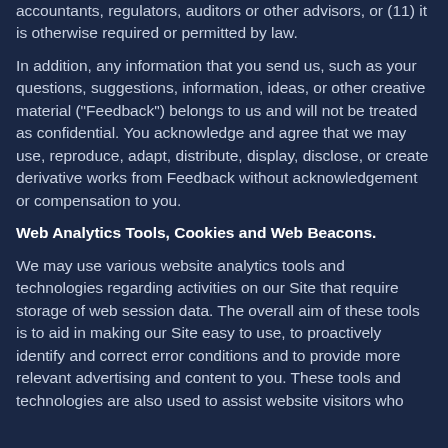accountants, regulators, auditors or other advisors, or (11) it is otherwise required or permitted by law.
In addition, any information that you send us, such as your questions, suggestions, information, ideas, or other creative material ("Feedback") belongs to us and will not be treated as confidential. You acknowledge and agree that we may use, reproduce, adapt, distribute, display, disclose, or create derivative works from Feedback without acknowledgement or compensation to you.
Web Analytics Tools, Cookies and Web Beacons.
We may use various website analytics tools and technologies regarding activities on our Site that require storage of web session data. The overall aim of these tools is to aid in making our Site easy to use, to proactively identify and correct error conditions and to provide more relevant advertising and content to you. These tools and technologies are also used to assist website visitors who